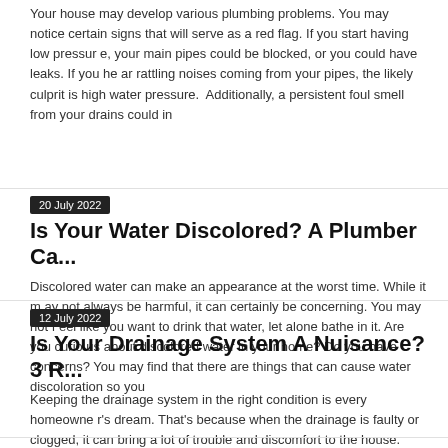Your house may develop various plumbing problems. You may notice certain signs that will serve as a red flag. If you start having low pressure, your main pipes could be blocked, or you could have leaks. If you hear rattling noises coming from your pipes, the likely culprit is high water pressure.  Additionally, a persistent foul smell from your drains could in
20 July 2022
Is Your Water Discolored? A Plumber Ca...
Discolored water can make an appearance at the worst time. While it may not always be harmful, it can certainly be concerning. You may not feel like you want to drink that water, let alone bathe in it. Are you curious about discolored water in your home? Do you have concerns? You may find that there are things that can cause water discoloration so you
12 July 2022
Is Your Drainage System A Nuisance? 3 R...
Keeping the drainage system in the right condition is every homeowner's dream. That's because when the drainage is faulty or clogged, it can bring a lot of trouble and discomfort to the house. Therefore, it is always wise to be aware of your drainage to detect any shortcomings as early as possible and call professionals. But unfortunately, most homeown